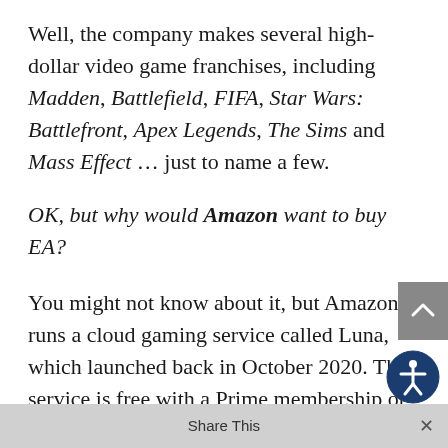Well, the company makes several high-dollar video game franchises, including Madden, Battlefield, FIFA, Star Wars: Battlefront, Apex Legends, The Sims and Mass Effect … just to name a few.
OK, but why would Amazon want to buy EA?
You might not know about it, but Amazon runs a cloud gaming service called Luna, which launched back in October 2020. The service is free with a Prime membership or $9.99 per month for an all-access Luna+ pass.
What? You haven't heard of Luna? Well … now you know why Amazon would be interested in buying EA.
You see, Luna isn't doing all that hot right now. It's doing better than Google's Stadia cloud gaming...